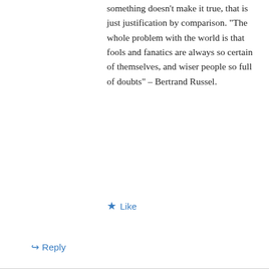something doesn't make it true, that is just justification by comparison. “The whole problem with the world is that fools and fanatics are always so certain of themselves, and wiser people so full of doubts” – Bertrand Russel.
★ Like
↪ Reply
Mark Dent on December 16, 2016 at 2:14 am
“The whole problem with the world is that f…
Privacy & Cookies: This site uses cookies. By continuing to use this website, you agree to their use.
To find out more, including how to control cookies, see here: Cookie Policy
Close and accept